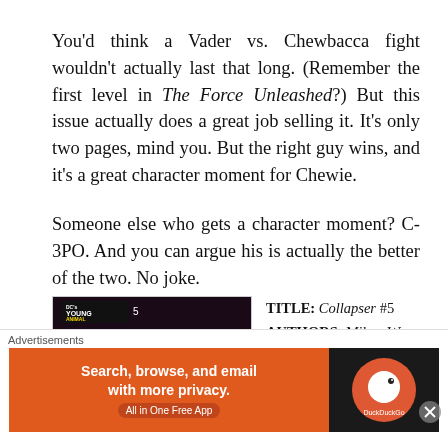You'd think a Vader vs. Chewbacca fight wouldn't actually last that long. (Remember the first level in The Force Unleashed?) But this issue actually does a great job selling it. It's only two pages, mind you. But the right guy wins, and it's a great character moment for Chewie.

Someone else who gets a character moment? C-3PO. And you can argue his is actually the better of the two. No joke.
[Figure (illustration): Comic book cover for Collapser #5 by DC's Young Animal imprint, showing the title 'COLLAPSER' in large yellow letters on a dark/purple background with a hand illustration]
TITLE: Collapser #5
AUTHORS: Mikey Way, Shaun Simon
ARTISTS: Ilias Kyriazis
Advertisements
[Figure (screenshot): DuckDuckGo advertisement banner: 'Search, browse, and email with more privacy. All in One Free App' with DuckDuckGo logo on dark background]